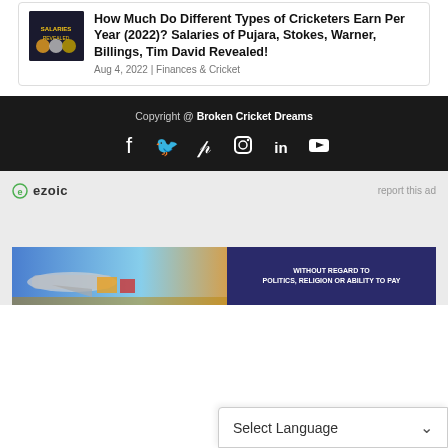How Much Do Different Types of Cricketers Earn Per Year (2022)? Salaries of Pujara, Stokes, Warner, Billings, Tim David Revealed!
Aug 4, 2022 | Finances & Cricket
Copyright @ Broken Cricket Dreams
ezoic  report this ad
[Figure (photo): Banner advertisement showing airplane cargo loading with text 'WITHOUT REGARD TO POLITICS, RELIGION OR ABILITY TO PAY']
Select Language